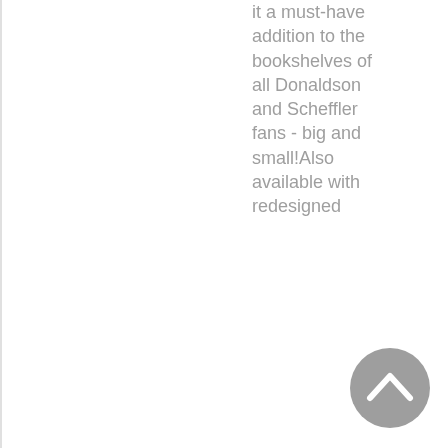it a must-have addition to the bookshelves of all Donaldson and Scheffler fans - big and small!Also available with redesigned
[Figure (other): A circular grey back-to-top button with a white upward-pointing chevron arrow]